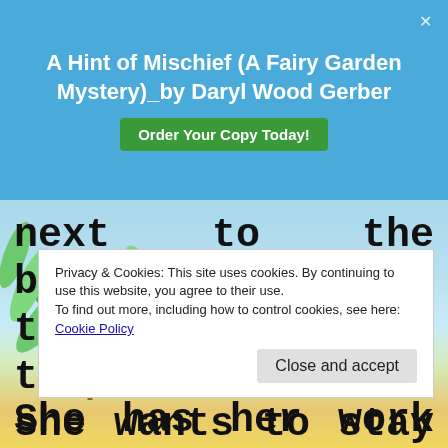A Hint of Mischief (A Fairy Garden Mystery)_by Daryl Wood Gerber
next to the buffet. All eyes turn to her as the suspect. If she wants to stay out of jail or even keep her job,
Privacy & Cookies: This site uses cookies. By continuing to use this website, you agree to their use.
To find out more, including how to control cookies, see here:
Cookie Policy
Close and accept
She has her work cut out